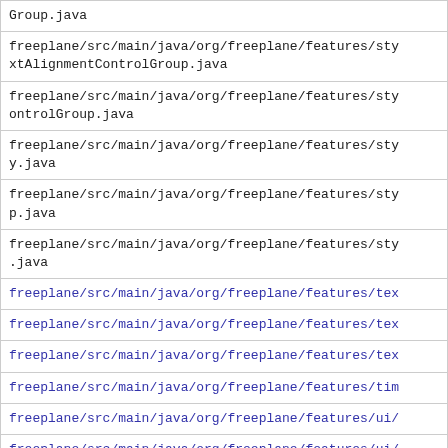| Group.java |
| freeplane/src/main/java/org/freeplane/features/sty
extAlignmentControlGroup.java |
| freeplane/src/main/java/org/freeplane/features/sty
ontrolGroup.java |
| freeplane/src/main/java/org/freeplane/features/sty
y.java |
| freeplane/src/main/java/org/freeplane/features/sty
p.java |
| freeplane/src/main/java/org/freeplane/features/sty
.java |
| freeplane/src/main/java/org/freeplane/features/tex |
| freeplane/src/main/java/org/freeplane/features/tex |
| freeplane/src/main/java/org/freeplane/features/tex |
| freeplane/src/main/java/org/freeplane/features/tim |
| freeplane/src/main/java/org/freeplane/features/ui/ |
| freeplane/src/main/java/org/freeplane/features/ui/ |
| freeplane/src/main/java/org/freeplane/features/ui/ |
| freeplane/src/main/java/org/freeplane/features/url |
| freeplane/src/main/java/org/freeplane/features/url |